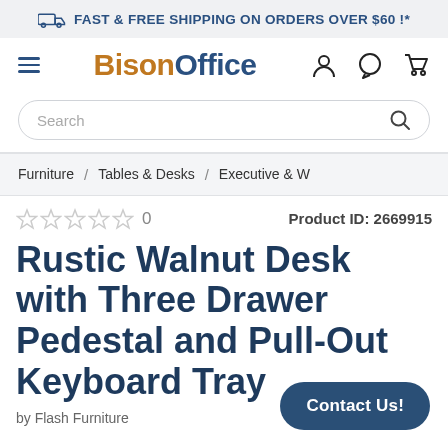FAST & FREE SHIPPING ON ORDERS OVER $60 !*
[Figure (logo): BisonOffice logo with hamburger menu and nav icons (user, chat, cart)]
[Figure (other): Search bar with placeholder text 'Search' and magnifying glass icon]
Furniture / Tables & Desks / Executive & W
★★★★★ 0   Product ID: 2669915
Rustic Walnut Desk with Three Drawer Pedestal and Pull-Out Keyboard Tray
by Flash Furniture
Contact Us!